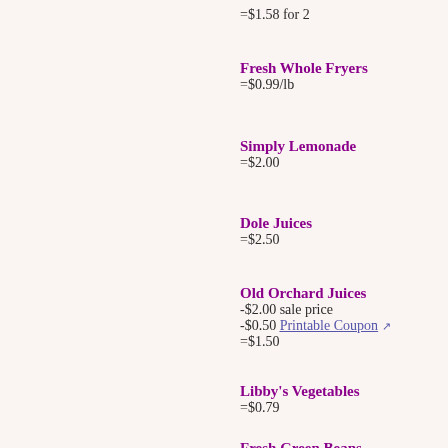=$1.58 for 2
Fresh Whole Fryers
=$0.99/lb
Simply Lemonade
=$2.00
Dole Juices
=$2.50
Old Orchard Juices
-$2.00 sale price
-$0.50 Printable Coupon
=$1.50
Libby's Vegetables
=$0.79
Fresh Green Beans